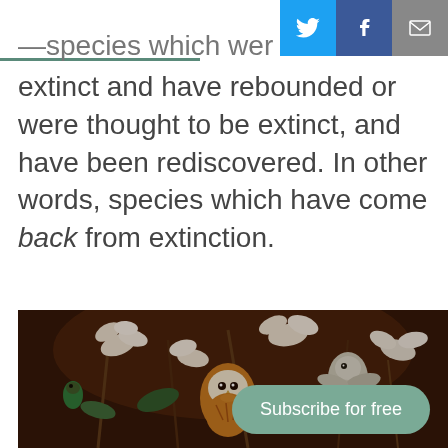Social share buttons: Twitter, Facebook, Email
—species which were either extinct and have rebounded or were thought to be extinct, and have been rediscovered. In other words, species which have come back from extinction.
[Figure (illustration): Oil painting style illustration of a barn owl and other birds among white magnolia flowers against a dark brown background]
Subscribe for free